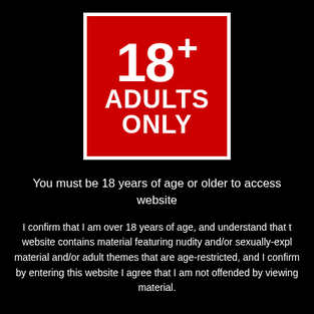[Figure (illustration): Red square badge with white border displaying '18+' in large bold white text above 'ADULTS ONLY' in bold white uppercase text on a red background]
You must be 18 years of age or older to access website
I confirm that I am over 18 years of age, and understand that this website contains material featuring nudity and/or sexually-explicit material and/or adult themes that are age-restricted, and I confirm that by entering this website I agree that I am not offended by viewing such material.